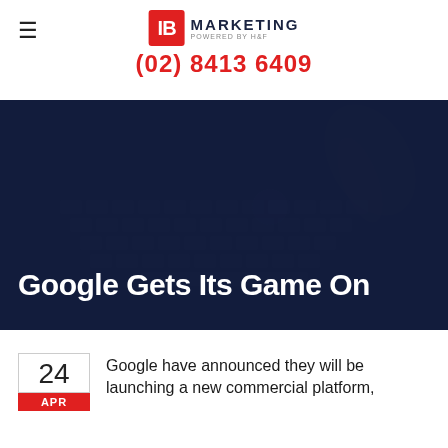IB Marketing powered by H&F — (02) 8413 6409
[Figure (photo): Dark overlay hero image of hands typing on a keyboard, with the text 'Google Gets Its Game On' overlaid in large white bold font]
Google Gets Its Game On
Google have announced they will be launching a new commercial platform,